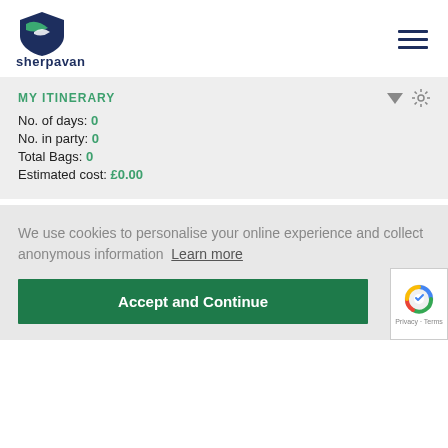[Figure (logo): Sherpavan logo with green and blue shield icon and text 'sherpavan']
MY ITINERARY
No. of days: 0
No. in party: 0
Total Bags: 0
Estimated cost: £0.00
We use cookies to personalise your online experience and collect anonymous information Learn more
Accept and Continue